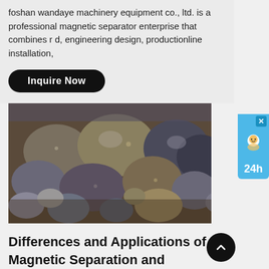foshan wandaye machinery equipment co., ltd. is a professional magnetic separator enterprise that combines r d, engineering design, productionline installation,
Inquire Now
[Figure (photo): Photograph of various mineral rocks and stones of different sizes, colors ranging from grey to tan to dark blue, scattered on a surface]
Differences and Applications of Magnetic Separation and
oct 28, 2021the magnetic separator is the key beneficiation equipment for separating magnetic minerals from nonmagnetic